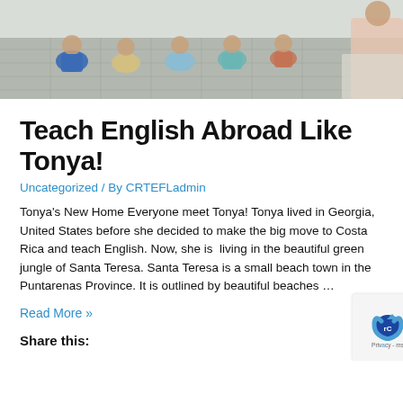[Figure (photo): Children sitting on a floor in a classroom or hallway, viewed from behind, with an adult visible at the right edge]
Teach English Abroad Like Tonya!
Uncategorized / By CRTEFLadmin
Tonya's New Home Everyone meet Tonya! Tonya lived in Georgia, United States before she decided to make the big move to Costa Rica and teach English. Now, she is  living in the beautiful green jungle of Santa Teresa. Santa Teresa is a small beach town in the Puntarenas Province. It is outlined by beautiful beaches …
Read More »
Share this: